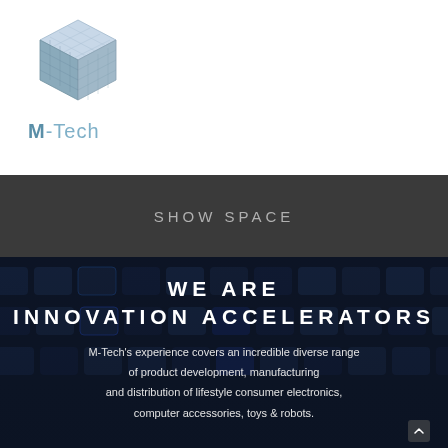[Figure (logo): M-Tech 3D cube logo in blue-grey metallic style, followed by M-Tech brand name text]
SHOW SPACE
WE ARE INNOVATION ACCELERATORS
M-Tech's experience covers an incredible diverse range of product development, manufacturing and distribution of lifestyle consumer electronics, computer accessories, toys & robots.